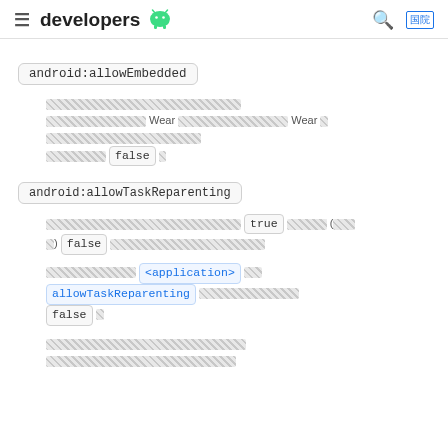developers (Android logo)
android:allowEmbedded
[redacted text] Wear [redacted] Wear [redacted] false
android:allowTaskReparenting
[redacted] true [redacted] false [redacted]
[redacted] <application> [redacted] allowTaskReparenting [redacted] false
[redacted]